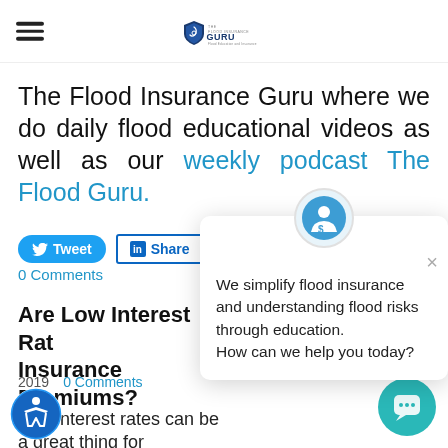The Flood Insurance Guru
The Flood Insurance Guru where we do daily flood educational videos as well as our weekly podcast The Flood Guru.
Tweet  Share  0 Comments
Are Low Interest Rates Affecting Flood Insurance Premiums?
2019  0 Comments
Low interest rates can be a great thing for
[Figure (infographic): Chat popup widget with avatar icon showing text: 'We simplify flood insurance and understanding flood risks through education. How can we help you today?']